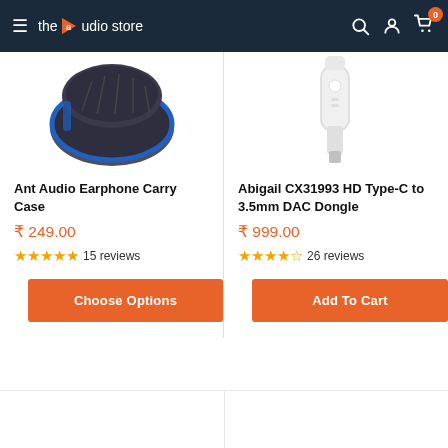the audio store — navigation bar with hamburger menu, search, account, cart (0)
[Figure (photo): Ant Audio Earphone Carry Case product image — dark grey/blue case partial view]
Ant Audio Earphone Carry Case
₹ 249.00
★★★★★ 15 reviews
Choose Options
[Figure (photo): Abigail CX31993 HD Type-C to 3.5mm DAC Dongle product image — white dongle partial view]
Abigail CX31993 HD Type-C to 3.5mm DAC Dongle
₹ 999.00
★★★★½ 26 reviews
Add To Cart